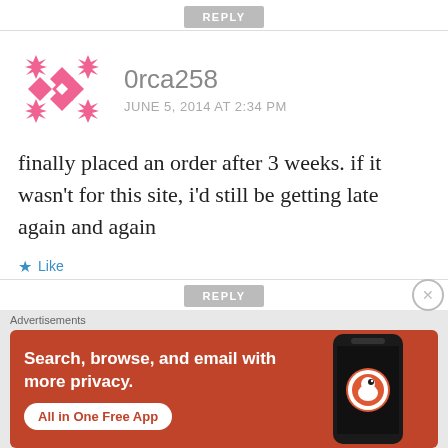REPLY
0rca258
JUNE 5, 2014 AT 2:34 PM
finally placed an order after 3 weeks. if it wasn't for this site, i'd still be getting late again and again
★ Like
REPLY
Advertisements
[Figure (screenshot): DuckDuckGo advertisement banner showing orange background with text 'Search, browse, and email with more privacy. All in One Free App' and a phone image with DuckDuckGo logo]